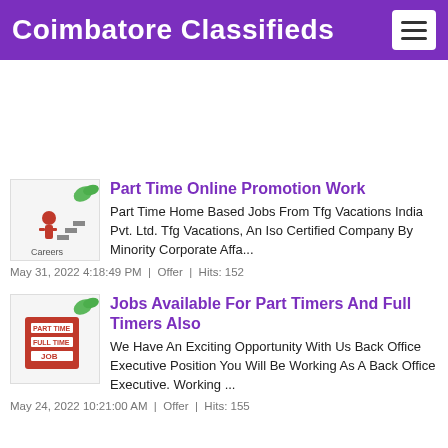Coimbatore Classifieds
[Figure (other): Advertisement banner area (blank white space)]
Part Time Online Promotion Work
Part Time Home Based Jobs From Tfg Vacations India Pvt. Ltd. Tfg Vacations, An Iso Certified Company By Minority Corporate Affa...
May 31, 2022 4:18:49 PM  |  Offer  |  Hits: 152
Jobs Available For Part Timers And Full Timers Also
We Have An Exciting Opportunity With Us Back Office Executive Position You Will Be Working As A Back Office Executive. Working ...
May 24, 2022 10:21:00 AM  |  Offer  |  Hits: 155